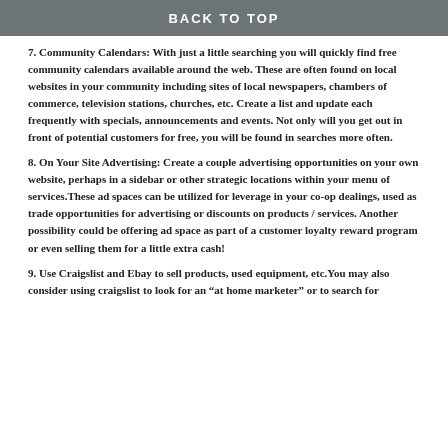BACK TO TOP
7. Community Calendars: With just a little searching you will quickly find free community calendars available around the web. These are often found on local websites in your community including sites of local newspapers, chambers of commerce, television stations, churches, etc. Create a list and update each frequently with specials, announcements and events. Not only will you get out in front of potential customers for free, you will be found in searches more often.
8. On Your Site Advertising: Create a couple advertising opportunities on your own website, perhaps in a sidebar or other strategic locations within your menu of services.These ad spaces can be utilized for leverage in your co-op dealings, used as trade opportunities for advertising or discounts on products / services. Another possibility could be offering ad space as part of a customer loyalty reward program or even selling them for a little extra cash!
9. Use Craigslist and Ebay to sell products, used equipment, etc.You may also consider using craigslist to look for an “at home marketer” or to search for